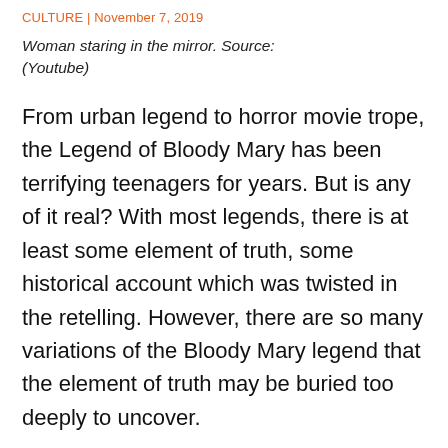CULTURE | November 7, 2019
Woman staring in the mirror. Source: (Youtube)
From urban legend to horror movie trope, the Legend of Bloody Mary has been terrifying teenagers for years. But is any of it real? With most legends, there is at least some element of truth, some historical account which was twisted in the retelling. However, there are so many variations of the Bloody Mary legend that the element of truth may be buried too deeply to uncover.